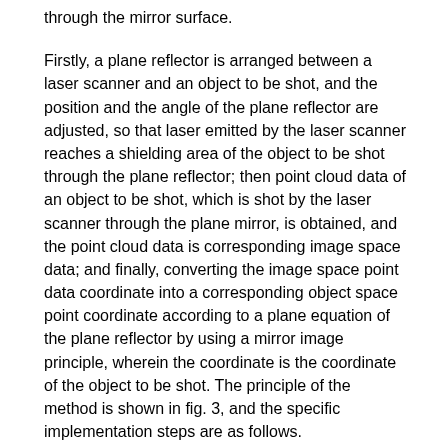through the mirror surface.
Firstly, a plane reflector is arranged between a laser scanner and an object to be shot, and the position and the angle of the plane reflector are adjusted, so that laser emitted by the laser scanner reaches a shielding area of the object to be shot through the plane reflector; then point cloud data of an object to be shot, which is shot by the laser scanner through the plane mirror, is obtained, and the point cloud data is corresponding image space data; and finally, converting the image space point data coordinate into a corresponding object space point coordinate according to a plane equation of the plane reflector by using a mirror image principle, wherein the coordinate is the coordinate of the object to be shot. The principle of the method is shown in fig. 3, and the specific implementation steps are as follows.
1. Install the speculum between laser scanner and waiting to shoot the object, the position and the angle of adjustment speculum make the laser that laser scanner launches reach through the speculum and shelter from the region.